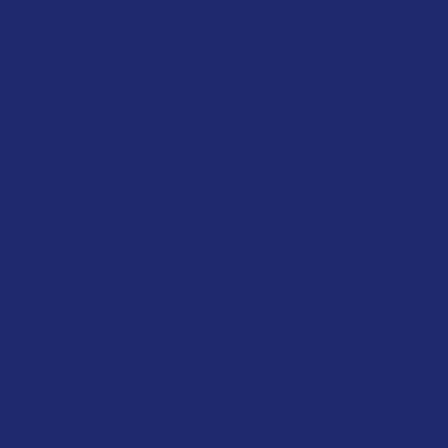[Figure (other): Solid dark navy blue background filling the entire page, uniform color approximately #1e2a6e with subtle texture variation.]